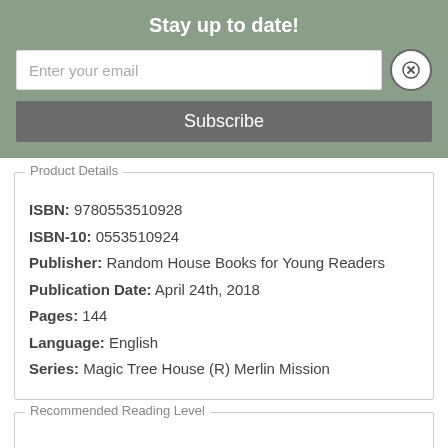Stay up to date!
Enter your email
Subscribe
Product Details
ISBN: 9780553510928
ISBN-10: 0553510924
Publisher: Random House Books for Young Readers
Publication Date: April 24th, 2018
Pages: 144
Language: English
Series: Magic Tree House (R) Merlin Mission
Recommended Reading Level
Minimum Age: 7